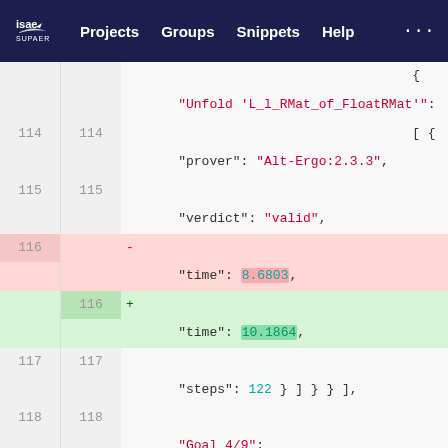ISAE SUPAERO — Projects | Groups | Snippets | Help
[Figure (screenshot): GitLab code diff view showing JSON content lines 114–119 with line 116 deleted (time: 8.6803) and replaced (time: 10.1864)]